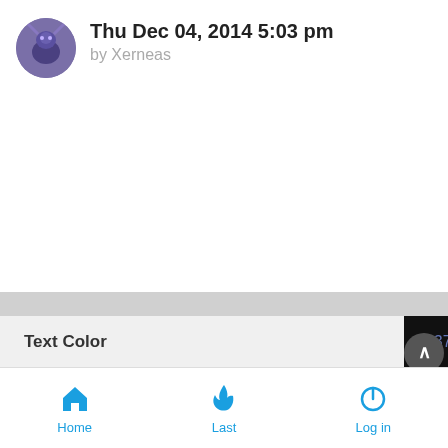Thu Dec 04, 2014 5:03 pm
by Xerneas
|  |  |
| --- | --- |
| Text Color | #6376B8 |
| Item | None |
Home  Last  Log in